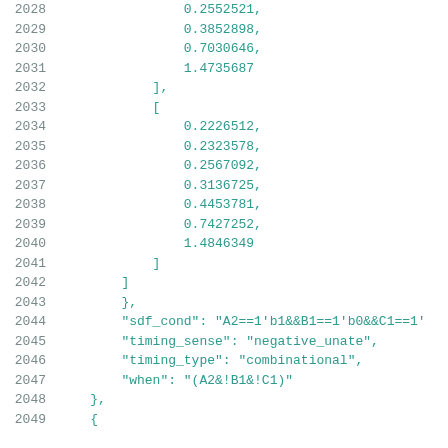Code listing lines 2028-2049 showing numeric array data and JSON key-value pairs including sdf_cond, timing_sense, timing_type, and when fields